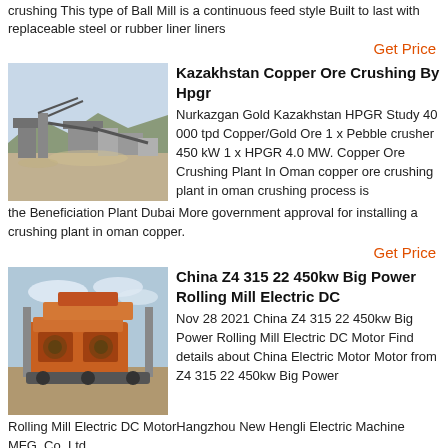crushing This type of Ball Mill is a continuous feed style Built to last with replaceable steel or rubber liner liners
Get Price
[Figure (photo): Photograph of a mining crushing plant or ore processing facility with conveyors and equipment]
Kazakhstan Copper Ore Crushing By Hpgr
Nurkazgan Gold Kazakhstan HPGR Study 40 000 tpd Copper/Gold Ore 1 x Pebble crusher 450 kW 1 x HPGR 4.0 MW. Copper Ore Crushing Plant In Oman copper ore crushing plant in oman crushing process is the Beneficiation Plant Dubai More government approval for installing a crushing plant in oman copper.
Get Price
[Figure (photo): Photograph of a large industrial crushing/milling machine, orange-colored, outdoors]
China Z4 315 22 450kw Big Power Rolling Mill Electric DC
Nov 28 2021  China Z4 315 22 450kw Big Power Rolling Mill Electric DC Motor Find details about China Electric Motor Motor from Z4 315 22 450kw Big Power Rolling Mill Electric DC MotorHangzhou New Hengli Electric Machine MFG. Co. Ltd.
Get Price